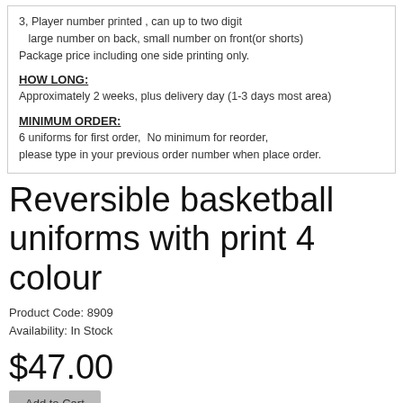3, Player number printed , can up to two digit large number on back, small number on front(or shorts) Package price including one side printing only.
HOW LONG:
Approximately 2 weeks, plus delivery day (1-3 days most area)
MINIMUM ORDER:
6 uniforms for first order,  No minimum for reorder, please type in your previous order number when place order.
Reversible basketball uniforms with print 4 colour
Product Code: 8909
Availability: In Stock
$47.00